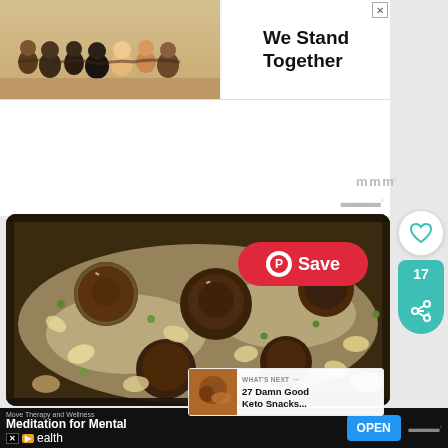[Figure (photo): Advertisement banner: group of people standing with arms around each other (seen from behind), next to text 'We Stand Together']
[Figure (photo): Food photo: close-up of a meatball pasta dish with shells, peas, mushrooms and cream sauce in a skillet, with a red Pinterest Save button overlay]
[Figure (infographic): WHAT'S NEXT panel with thumbnail and text '27 Damn Good Keto Snacks...']
[Figure (screenshot): Bottom advertisement bar with dark background: 'Move Therapy and Wellness' source, title 'Meditation for Mental Health', OPEN button in blue]